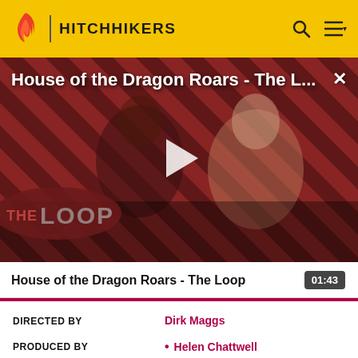HITCHHIKERS
[Figure (screenshot): Video thumbnail for 'House of the Dragon Roars - The Loop' showing two characters from the show against a red and black diagonal stripe background with The Loop logo overlay and a play button in the center]
House of the Dragon Roars - The L...
01:43
DIRECTED BY
Dirk Maggs
PRODUCED BY
Helen Chattwell